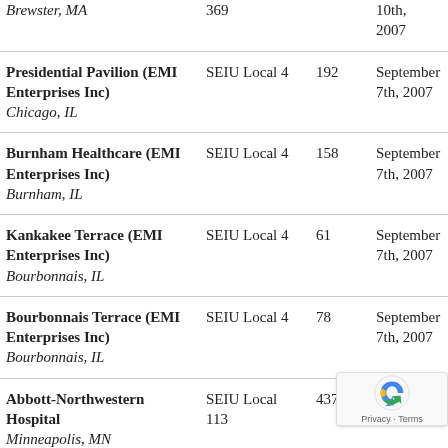| Facility | Union | Workers | Date |
| --- | --- | --- | --- |
| Brewster, MA (partial) | 369 |  | 10th, 2007 (partial) |
| Presidential Pavilion (EMI Enterprises Inc)
Chicago, IL | SEIU Local 4 | 192 | September 7th, 2007 |
| Burnham Healthcare (EMI Enterprises Inc)
Burnham, IL | SEIU Local 4 | 158 | September 7th, 2007 |
| Kankakee Terrace (EMI Enterprises Inc)
Bourbonnais, IL | SEIU Local 4 | 61 | September 7th, 2007 |
| Bourbonnais Terrace (EMI Enterprises Inc)
Bourbonnais, IL | SEIU Local 4 | 78 | September 7th, 2007 |
| Abbott-Northwestern Hospital
Minneapolis, MN | SEIU Local 113 | 437 |  |